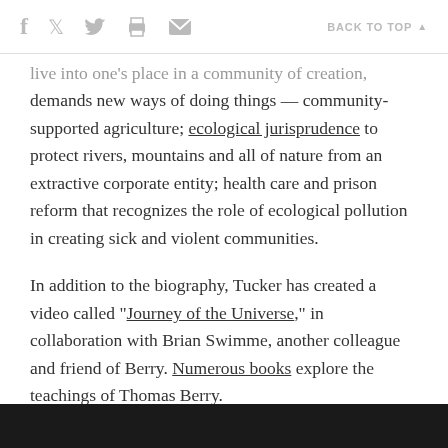f  [twitter]  [print]  [email]  BACK TO TOP ▲
live into one's place in a community of creation, demands new ways of doing things — community-supported agriculture; ecological jurisprudence to protect rivers, mountains and all of nature from an extractive corporate entity; health care and prison reform that recognizes the role of ecological pollution in creating sick and violent communities.
In addition to the biography, Tucker has created a video called "Journey of the Universe," in collaboration with Brian Swimme, another colleague and friend of Berry. Numerous books explore the teachings of Thomas Berry.